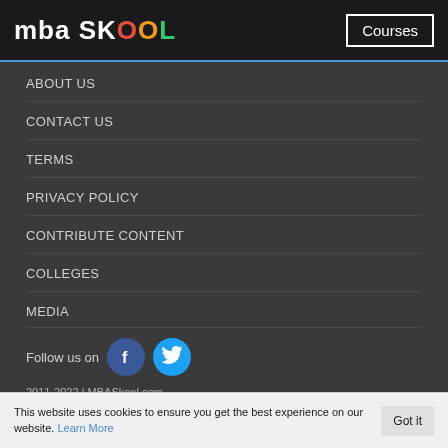mba SKOOL | Courses
ABOUT US
CONTACT US
TERMS
PRIVACY POLICY
CONTRIBUTE CONTENT
COLLEGES
MEDIA
Follow us on
2011-2022 | MBASkool.com
This website uses cookies to ensure you get the best experience on our website. Learn More